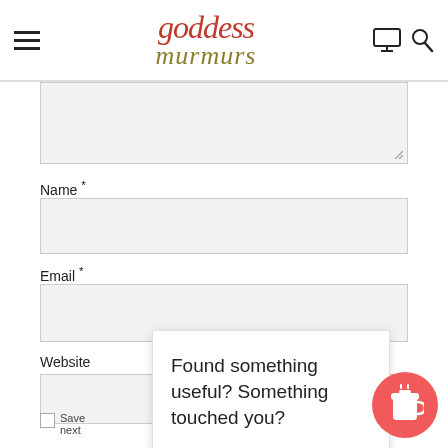goddess murmurs
[Figure (screenshot): Comment form fields: textarea (cropped at top), Name field, Email field, Website field (partially visible), save checkbox row, and a popup tooltip reading 'Found something useful? Something touched you?' with a coffee cup button]
Name *
Email *
Website
Found something useful? Something touched you?
Save ... er fo
next